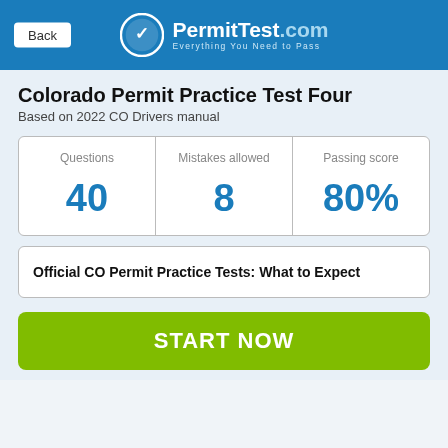Back | PermitTest.com — Everything You Need to Pass
Colorado Permit Practice Test Four
Based on 2022 CO Drivers manual
| Questions | Mistakes allowed | Passing score |
| --- | --- | --- |
| 40 | 8 | 80% |
Official CO Permit Practice Tests: What to Expect
START NOW